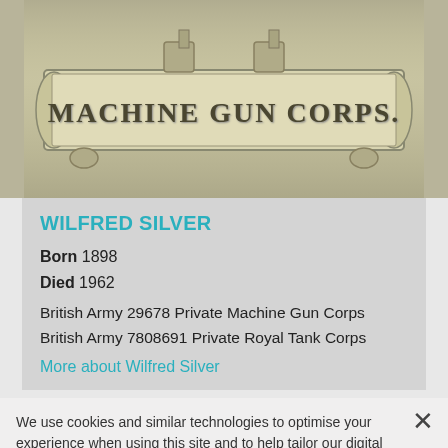[Figure (photo): Sepia-toned photograph of a military badge/clasp reading 'MACHINE GUN CORPS.' in embossed lettering on a scroll-style plaque with decorative hardware.]
WILFRED SILVER
Born 1898
Died 1962
British Army 29678 Private Machine Gun Corps
British Army 7808691 Private Royal Tank Corps
More about Wilfred Silver
We use cookies and similar technologies to optimise your experience when using this site and to help tailor our digital advertising on third party sites. View our cookie policy and our Privacy policies.